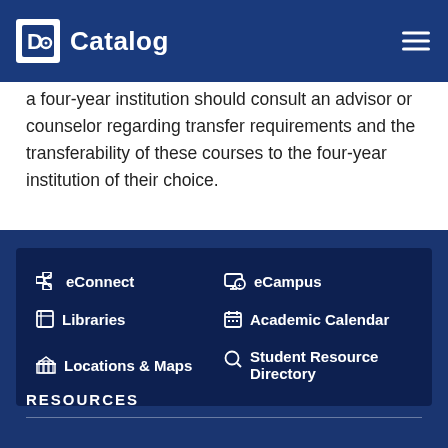Catalog
a four-year institution should consult an advisor or counselor regarding transfer requirements and the transferability of these courses to the four-year institution of their choice.
Back to Culinary | Pastry | Hospitality
[Figure (infographic): Footer navigation panel with icons for eConnect, eCampus, Libraries, Academic Calendar, Locations & Maps, Student Resource Directory]
RESOURCES